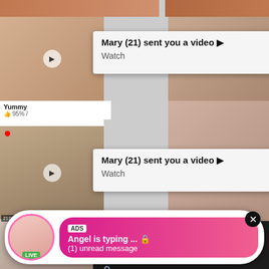[Figure (screenshot): Adult content website screenshot with blurred video thumbnails in a grid layout]
Yummy
95% /
Mary (21) sent you a video ▶
Watch
Mary (21) sent you a video ▶
Watch
ADS • 🔒 Dating for men!
Find bad girls here 🔒
21SEXTURY
Nud
95
ADS
Angel is typing ... 🔒
(1) unread message
LIVE